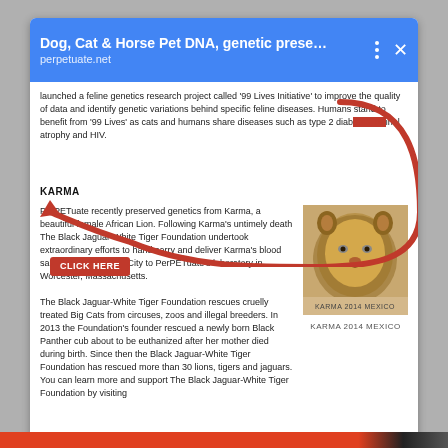Dog, Cat & Horse Pet DNA, genetic prese… | perpetuate.net
launched a feline genetics research project called '99 Lives Initiative' to improve the quality of data and identify genetic variations behind specific feline diseases. Humans stand to benefit from '99 Lives' as cats and humans share diseases such as type 2 diabetes, retinal atrophy and HIV.
KARMA
PerPETuate recently preserved genetics from Karma, a beautiful female African Lion. Following Karma's untimely death The Black Jaguar-White Tiger Foundation undertook extraordinary efforts to hand carry and deliver Karma's blood samples from Mexico City to PerPETuate's laboratory in Worcester, Massachusetts.
The Black Jaguar-White Tiger Foundation rescues cruelly treated Big Cats from circuses, zoos and illegal breeders. In 2013 the Foundation's founder rescued a newly born Black Panther cub about to be euthanized after her mother died during birth. Since then the Black Jaguar-White Tiger Foundation has rescued more than 30 lions, tigers and jaguars. You can learn more and support The Black Jaguar-White Tiger Foundation by visiting
[Figure (photo): Photo of a young African lion (Karma), captioned 'KARMA 2014 MEXICO']
Privacy & Cookies: This site uses cookies. By continuing to use this website, you agree to their use.
To find out more, including how to control cookies, see here: Cookie Policy
Close and accept